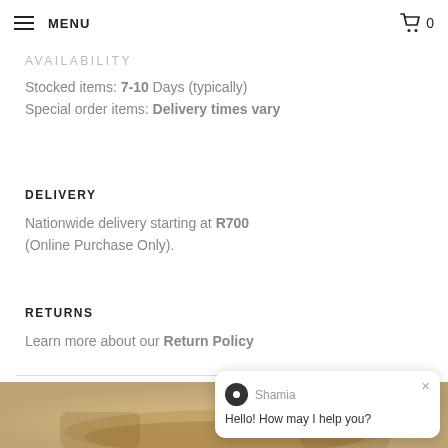MENU   0
AVAILABILITY
Stocked items: 7-10 Days (typically)
Special order items: Delivery times vary
DELIVERY
Nationwide delivery starting at R700 (Online Purchase Only).
RETURNS
Learn more about our Return Policy
[Figure (photo): Product photo partially visible at bottom of page — decorative cushion with natural/camo pattern]
[Figure (screenshot): Live chat widget showing agent named Shamia saying Hello! How may I help you?]